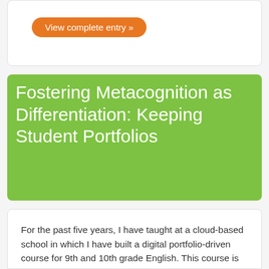View complete entry »
Fostering Metacognition as Differentiation: Keeping Student Portfolios
For the past five years, I have taught at a cloud-based school in which I have built a digital portfolio-driven course for 9th and 10th grade English. This course is premised on periodic self-assessments and benchmarks of portfolio 'publishing' at the quarter and semester points. The attached document details the moments of self-assessment, the uses of self-